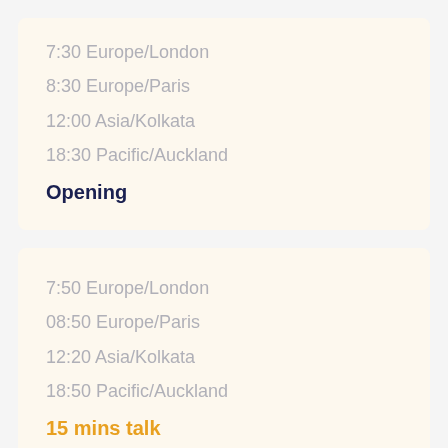7:30 Europe/London
8:30 Europe/Paris
12:00 Asia/Kolkata
18:30 Pacific/Auckland
Opening
7:50 Europe/London
08:50 Europe/Paris
12:20 Asia/Kolkata
18:50 Pacific/Auckland
15 mins talk
MVP MATCH
SPONSOR